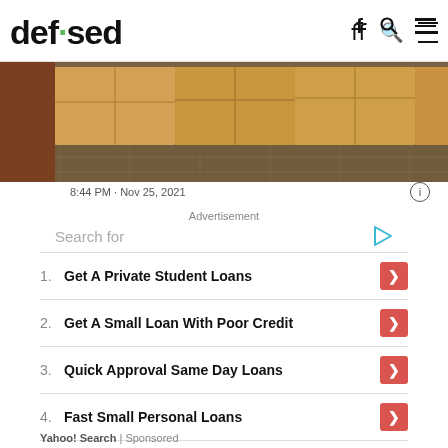defused
[Figure (photo): Photo of cardboard boxes on a tiled floor]
8:44 PM · Nov 25, 2021
Advertisement
Search for
1. Get A Private Student Loans
2. Get A Small Loan With Poor Credit
3. Quick Approval Same Day Loans
4. Fast Small Personal Loans
5. Raise Credit Score Quickly
Yahoo! Search | Sponsored